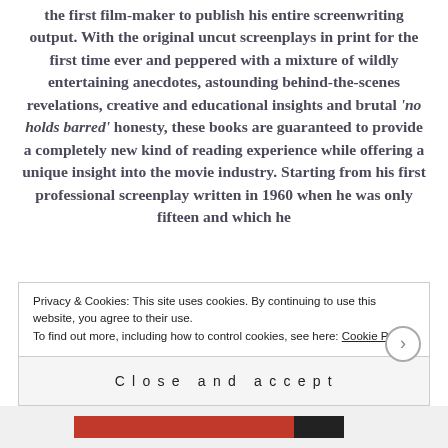the first film-maker to publish his entire screenwriting output. With the original uncut screenplays in print for the first time ever and peppered with a mixture of wildly entertaining anecdotes, astounding behind-the-scenes revelations, creative and educational insights and brutal 'no holds barred' honesty, these books are guaranteed to provide a completely new kind of reading experience while offering a unique insight into the movie industry. Starting from his first professional screenplay written in 1960 when he was only fifteen and which he
Privacy & Cookies: This site uses cookies. By continuing to use this website, you agree to their use. To find out more, including how to control cookies, see here: Cookie Policy
Close and accept